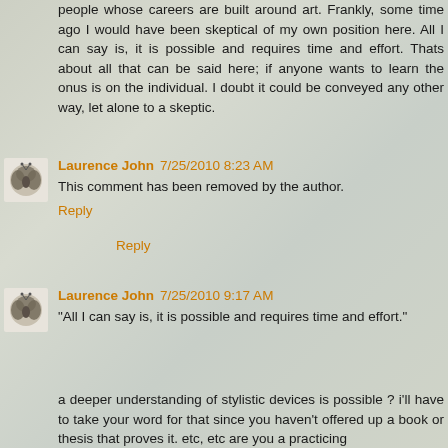people whose careers are built around art. Frankly, some time ago I would have been skeptical of my own position here. All I can say is, it is possible and requires time and effort. Thats about all that can be said here; if anyone wants to learn the onus is on the individual. I doubt it could be conveyed any other way, let alone to a skeptic.
Reply
Laurence John 7/25/2010 8:23 AM
This comment has been removed by the author.
Reply
Laurence John 7/25/2010 9:17 AM
"All I can say is, it is possible and requires time and effort."
a deeper understanding of stylistic devices is possible ? i'll have to take your word for that since you haven't offered up a book or thesis that proves it. etc, etc are you a practicing